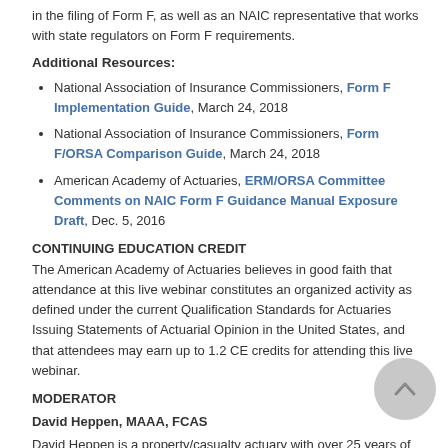in the filing of Form F, as well as an NAIC representative that works with state regulators on Form F requirements.
Additional Resources:
National Association of Insurance Commissioners, Form F Implementation Guide, March 24, 2018
National Association of Insurance Commissioners, Form F/ORSA Comparison Guide, March 24, 2018
American Academy of Actuaries, ERM/ORSA Committee Comments on NAIC Form F Guidance Manual Exposure Draft, Dec. 5, 2016
CONTINUING EDUCATION CREDIT
The American Academy of Actuaries believes in good faith that attendance at this live webinar constitutes an organized activity as defined under the current Qualification Standards for Actuaries Issuing Statements of Actuarial Opinion in the United States, and that attendees may earn up to 1.2 CE credits for attending this live webinar.
MODERATOR
David Heppen, MAAA, FCAS
David Heppen is a property/casualty actuary with over 25 years of experience